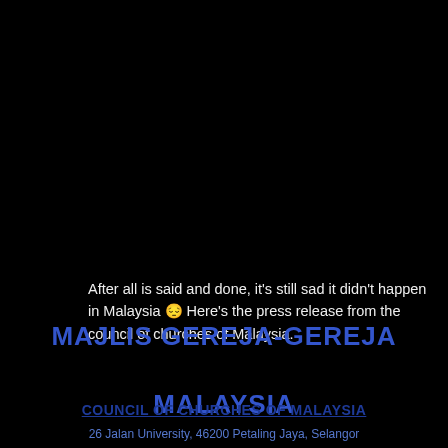After all is said and done, it's still sad it didn't happen in Malaysia 🙁 Here's the press release from the council of churches of Malaysia.
[Figure (other): A broken/placeholder image thumbnail shown as a small rectangle with a image icon on a black background]
MAJLIS GEREJA-GEREJA MALAYSIA
COUNCIL OF CHURCHES OF MALAYSIA
26 Jalan University, 46200 Petaling Jaya, Selangor